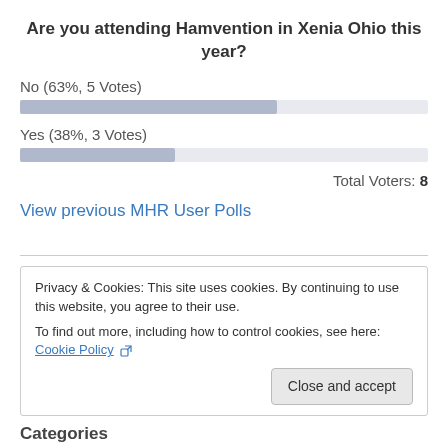Are you attending Hamvention in Xenia Ohio this year?
[Figure (bar-chart): Poll Results]
Total Voters: 8
View previous MHR User Polls
Privacy & Cookies: This site uses cookies. By continuing to use this website, you agree to their use.
To find out more, including how to control cookies, see here: Cookie Policy
Close and accept
Categories